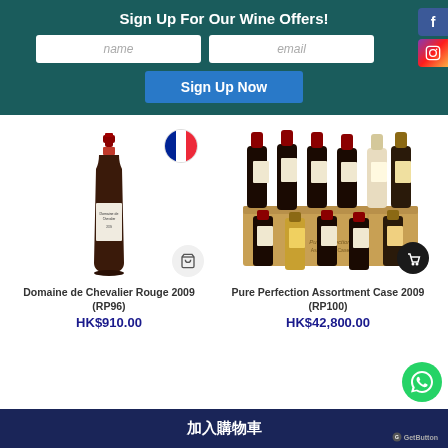Sign Up For Our Wine Offers!
name
email
Sign Up Now
[Figure (photo): Single red wine bottle - Domaine de Chevalier Rouge 2009]
[Figure (photo): French flag circular badge]
[Figure (photo): Pure Perfection Assortment Case - multiple wine bottles in wooden case]
Domaine de Chevalier Rouge 2009 (RP96)
HK$910.00
Pure Perfection Assortment Case 2009 (RP100)
HK$42,800.00
加入購物車